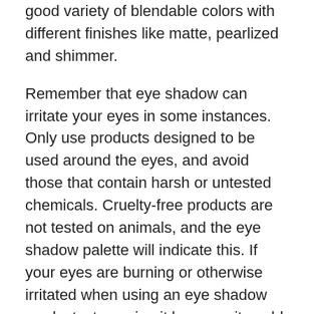good variety of blendable colors with different finishes like matte, pearlized and shimmer.
Remember that eye shadow can irritate your eyes in some instances. Only use products designed to be used around the eyes, and avoid those that contain harsh or untested chemicals. Cruelty-free products are not tested on animals, and the eye shadow palette will indicate this. If your eyes are burning or otherwise irritated when using an eye shadow product, stop using it because it could lead to an eye infection. Wash your applicators with soap regularly, and dispose of the eye shadow after three months.
If you're not sure which colors look best on you, buy an extensive palette and start experimenting. Many people stick to the rule of matching their skin's undertone, though this isn't set in stone. If you're unsure about experimenting, stop at a makeup counter for a professional opinion.